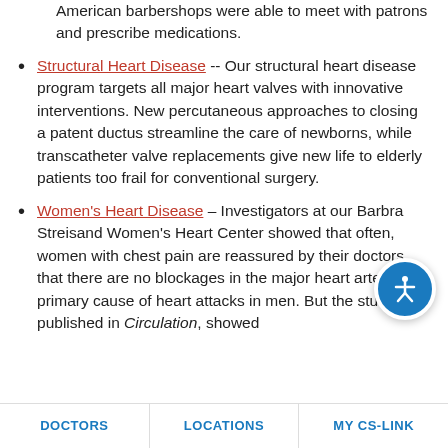American barbershops were able to meet with patrons and prescribe medications.
Structural Heart Disease -- Our structural heart disease program targets all major heart valves with innovative interventions. New percutaneous approaches to closing a patent ductus streamline the care of newborns, while transcatheter valve replacements give new life to elderly patients too frail for conventional surgery.
Women's Heart Disease – Investigators at our Barbra Streisand Women's Heart Center showed that often, women with chest pain are reassured by their doctors that there are no blockages in the major heart arteries, a primary cause of heart attacks in men. But the study, published in Circulation, showed
DOCTORS    LOCATIONS    MY CS-LINK